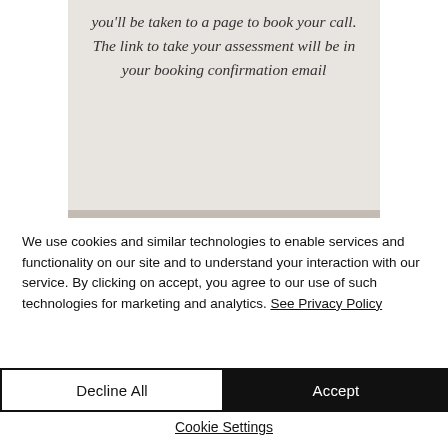you'll be taken to a page to book your call. The link to take your assessment will be in your booking confirmation email
We use cookies and similar technologies to enable services and functionality on our site and to understand your interaction with our service. By clicking on accept, you agree to our use of such technologies for marketing and analytics. See Privacy Policy
Decline All
Accept
Cookie Settings